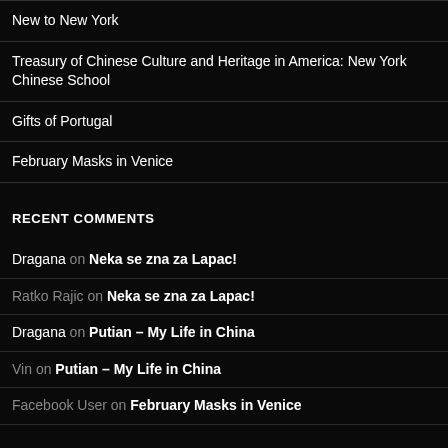New to New York
Treasury of Chinese Culture and Heritage in America: New York Chinese School
Gifts of Portugal
February Masks in Venice
RECENT COMMENTS
Dragana on Neka se zna za Lapac!
Ratko Rajic on Neka se zna za Lapac!
Dragana on Putian – My Life in China
Vin on Putian – My Life in China
Facebook User on February Masks in Venice